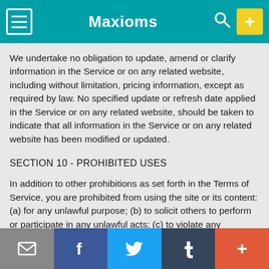Maxioms
We undertake no obligation to update, amend or clarify information in the Service or on any related website, including without limitation, pricing information, except as required by law. No specified update or refresh date applied in the Service or on any related website, should be taken to indicate that all information in the Service or on any related website has been modified or updated.
SECTION 10 - PROHIBITED USES
In addition to other prohibitions as set forth in the Terms of Service, you are prohibited from using the site or its content: (a) for any unlawful purpose; (b) to solicit others to perform or participate in any unlawful acts; (c) to violate any international, federal, provincial or state regulations, rules, laws, or local ordinances; (d) to infringe upon or violate our intellectual property rights or the intellectual property
Email | Facebook | Twitter | Tumblr | Plus